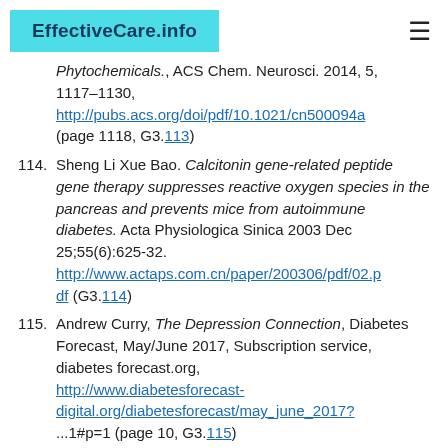EffectiveCare.info
Phytochemicals., ACS Chem. Neurosci. 2014, 5, 1117-1130, http://pubs.acs.org/doi/pdf/10.1021/cn500094a (page 1118, G3.113)
114. Sheng Li Xue Bao. Calcitonin gene-related peptide gene therapy suppresses reactive oxygen species in the pancreas and prevents mice from autoimmune diabetes. Acta Physiologica Sinica 2003 Dec 25;55(6):625-32. http://www.actaps.com.cn/paper/200306/pdf/02.pdf (G3.114)
115. Andrew Curry, The Depression Connection, Diabetes Forecast, May/June 2017, Subscription service, diabetes forecast.org, http://www.diabetesforecast-digital.org/diabetesforecast/may_june_2017?...1#p=1 (page 10, G3.115)